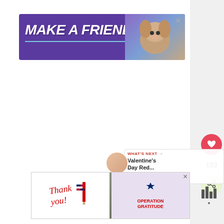[Figure (screenshot): Web page screenshot with two advertisement banners, social interaction buttons (heart/like with count 103, share), a 'What's Next' panel showing 'Valentine's Day Red...' link, and white content area]
[Figure (photo): Top advertisement banner with purple background showing 'MAKE A FRIEND' text in white italic font with a dog image on the right and heart decorations]
[Figure (photo): Bottom advertisement banner for Operation Gratitude showing 'Thank you' handwritten text, military personnel photo, and Operation Gratitude logo]
103
WHAT'S NEXT → Valentine's Day Red...